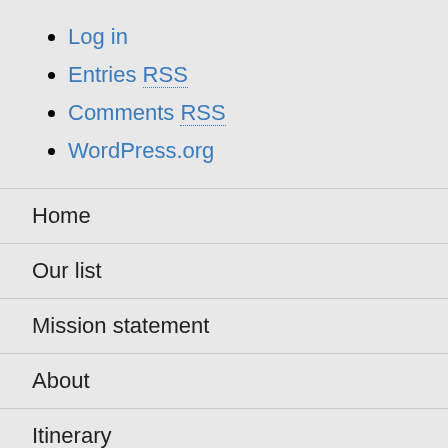Log in
Entries RSS
Comments RSS
WordPress.org
Home
Our list
Mission statement
About
Itinerary
Pictures